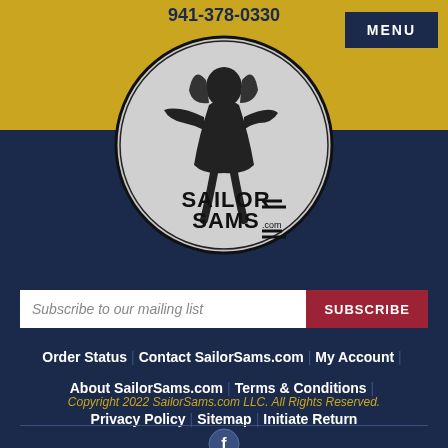941-378-0330
[Figure (logo): Sailor Sam's logo: circular gray badge with a sailor pin-up girl illustration and text SAILOR SAMS.com with horizontal stripes]
Subscribe to our mailing list
Order Status | Contact SailorSams.com | My Account
About SailorSams.com | Terms & Conditions
Privacy Policy | Sitemap | Initiate Return
Copyright 2022 SailorSams.com LLC. All Rights Reserved.